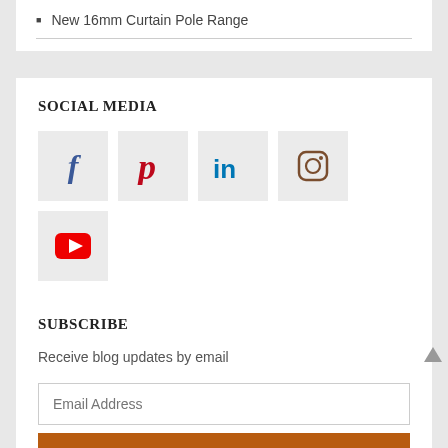New 16mm Curtain Pole Range
SOCIAL MEDIA
[Figure (infographic): Social media icons: Facebook (blue f), Pinterest (red P), LinkedIn (teal in), Instagram (brown camera), YouTube (red play button)]
SUBSCRIBE
Receive blog updates by email
Email Address
Subscribe